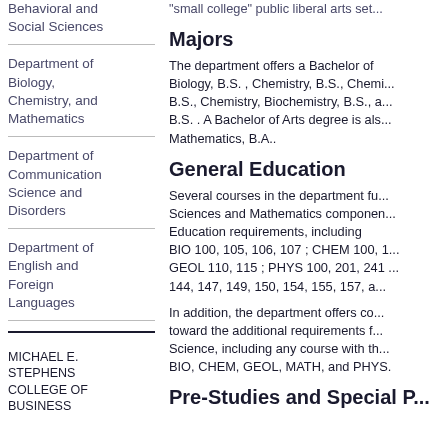Behavioral and Social Sciences
Department of Biology, Chemistry, and Mathematics
Department of Communication Science and Disorders
Department of English and Foreign Languages
MICHAEL E. STEPHENS COLLEGE OF BUSINESS
small college  public liberal arts set...
Majors
The department offers a Bachelor of Biology, B.S. , Chemistry, B.S., Chemi... B.S., Chemistry, Biochemistry, B.S., a... B.S. . A Bachelor of Arts degree is als... Mathematics, B.A..
General Education
Several courses in the department fu... Sciences and Mathematics componen... Education requirements, including BIO 100, 105, 106, 107 ; CHEM 100, ... GEOL 110, 115 ; PHYS 100, 201, 241 ... 144, 147, 149, 150, 154, 155, 157, a...
In addition, the department offers co... toward the additional requirements f... Science, including any course with th... BIO, CHEM, GEOL, MATH, and PHYS.
Pre-Studies and Special P...